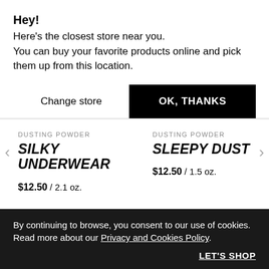Hey!
Here's the closest store near you.
You can buy your favorite products online and pick them up from this location.
Change store
OK, THANKS
DUSTING POWDER
SILKY UNDERWEAR
$12.50 / 2.1 oz.
DUSTING POWDER
SLEEPY DUST
$12.50 / 1.5 oz.
By continuing to browse, you consent to our use of cookies. Read more about our Privacy and Cookies Policy.
LET'S SHOP